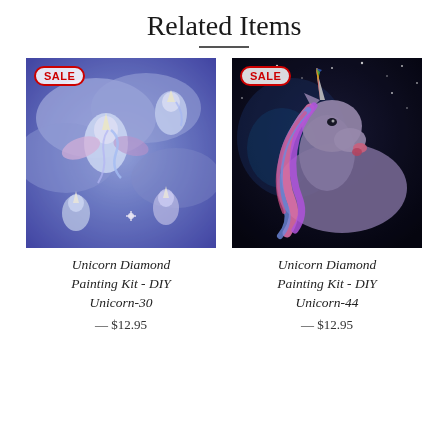Related Items
[Figure (photo): Diamond painting kit product image showing multiple unicorns flying in blue and purple clouds with a SALE badge in the top-left corner]
Unicorn Diamond Painting Kit - DIY Unicorn-30
— $12.95
[Figure (photo): Diamond painting kit product image showing a unicorn with rainbow horn and pink/purple mane against a dark starry sky background with a SALE badge in the top-left corner]
Unicorn Diamond Painting Kit - DIY Unicorn-44
— $12.95